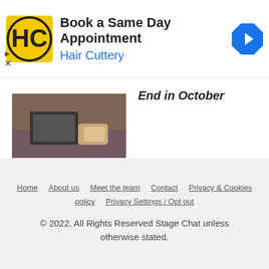[Figure (screenshot): Hair Cuttery advertisement banner with logo, 'Book a Same Day Appointment' heading, 'Hair Cuttery' subheading in blue, and a blue navigation arrow icon. Includes ad indicator triangle and X.]
End in October
[Figure (photo): Photo of a room with a sofa or couch and what appears to be a device on a table, with purple and wood tones.]
Home   About us   Meet the team   Contact   Privacy & Cookies policy   Privacy Settings / Opt out
© 2022. All Rights Reserved Stage Chat unless otherwise stated.